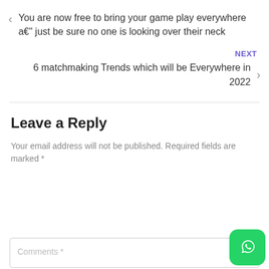You are now free to bring your game play everywhere a€" just be sure no one is looking over their neck
NEXT
6 matchmaking Trends which will be Everywhere in 2022
Leave a Reply
Your email address will not be published. Required fields are marked *
Comments *